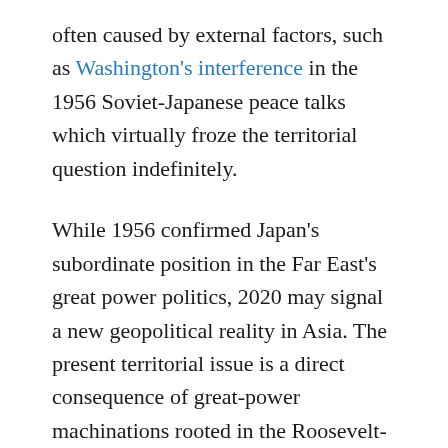often caused by external factors, such as Washington's interference in the 1956 Soviet-Japanese peace talks which virtually froze the territorial question indefinitely.
While 1956 confirmed Japan's subordinate position in the Far East's great power politics, 2020 may signal a new geopolitical reality in Asia. The present territorial issue is a direct consequence of great-power machinations rooted in the Roosevelt-Stalin secret pact at the 1945 Yalta Conference. The Cold War locked Japan in the U.S.-Japan alliance system that legally codified various structural constraints on Tokyo, effectively subordinating it to Washington's will